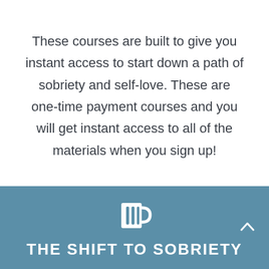These courses are built to give you instant access to start down a path of sobriety and self-love. These are one-time payment courses and you will get instant access to all of the materials when you sign up!
[Figure (illustration): White beer mug icon on steel blue background]
THE SHIFT TO SOBRIETY